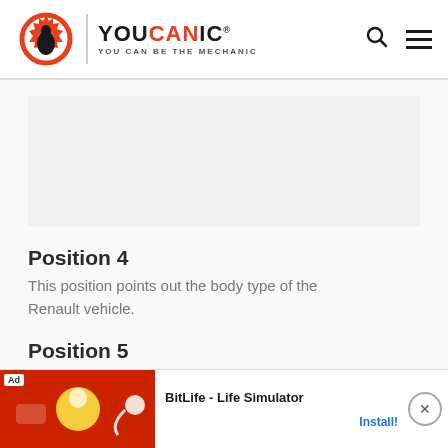[Figure (logo): YOUCANIC logo with gear/wrench icon and tagline YOU CAN BE THE MECHANIC]
Position 4
This position points out the body type of the Renault vehicle.
Position 5
This p...leup
[Figure (screenshot): Ad banner for BitLife - Life Simulator game with Install button]